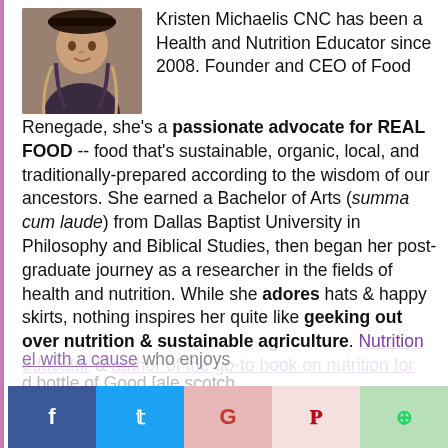[Figure (photo): Portrait photo of Kristen Michaelis wearing a hat, smiling, with braids]
Kristen Michaelis CNC has been a Health and Nutrition Educator since 2008. Founder and CEO of Food Renegade, she's a passionate advocate for REAL FOOD -- food that's sustainable, organic, local, and traditionally-prepared according to the wisdom of our ancestors. She earned a Bachelor of Arts (summa cum laude) from Dallas Baptist University in Philosophy and Biblical Studies, then began her post-graduate journey as a researcher in the fields of health and nutrition. While she adores hats & happy skirts, nothing inspires her quite like geeking out over nutrition & sustainable agriculture. Nutrition educator & author of the go-to book on nutrition for [el with a cause] who enjoys [d bottle of Good [ale scotch
[Figure (other): Social sharing bar with Facebook, Twitter, Google+, Pinterest, WhatsApp buttons]